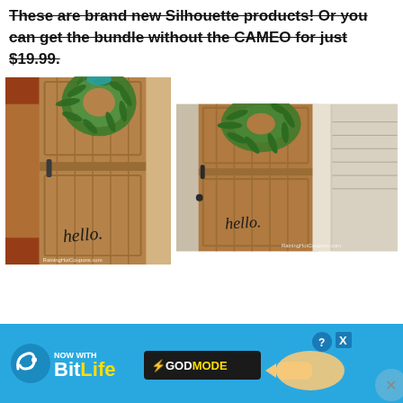These are brand new Silhouette products! Or you can get the bundle without the CAMEO for just $19.99.
[Figure (photo): Two photos of a rustic wooden door with a green wreath and 'hello.' written in script on the lower panel. Left photo shows interior view; right photo shows exterior view. Both have RainingHotCoupons.com watermark.]
[Figure (infographic): BitLife advertisement banner. Blue background with BitLife logo (snake icon, 'BitLife' text in white/yellow), 'NOW WITH' text, 'GOD MODE' in yellow on dark box with lightning bolt, question mark circle and X close buttons, and a pointing hand graphic on the right.]